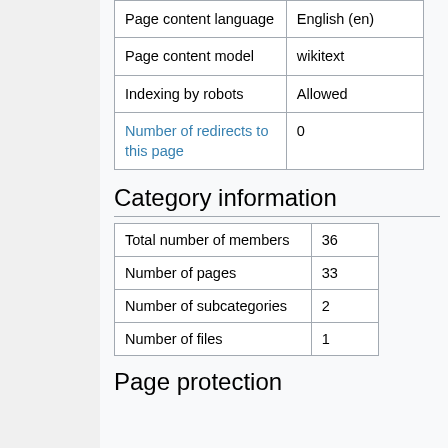| Page content language | English (en) |
| Page content model | wikitext |
| Indexing by robots | Allowed |
| Number of redirects to this page | 0 |
Category information
| Total number of members | 36 |
| Number of pages | 33 |
| Number of subcategories | 2 |
| Number of files | 1 |
Page protection